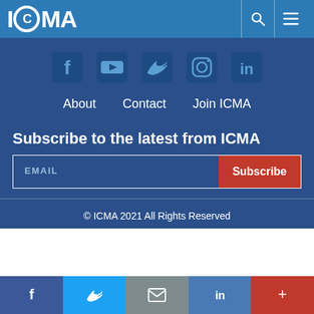ICMA
[Figure (infographic): Social media icons: Facebook, YouTube, Twitter, Instagram, LinkedIn on dark blue background]
About   Contact   Join ICMA
Subscribe to the latest from ICMA
EMAIL  Subscribe
© ICMA 2021 All Rights Reserved
[Figure (infographic): Bottom share bar with Facebook, Twitter, mail, LinkedIn, and plus icons in colored blocks]